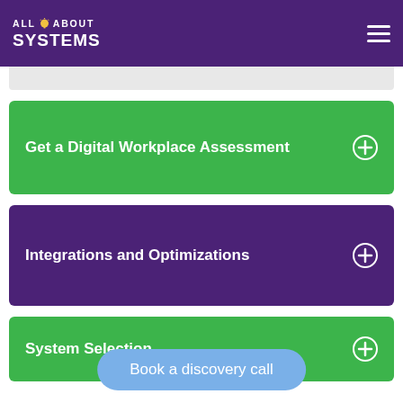ALL ABOUT SYSTEMS
Get a Digital Workplace Assessment
Integrations and Optimizations
System Selection
Book a discovery call